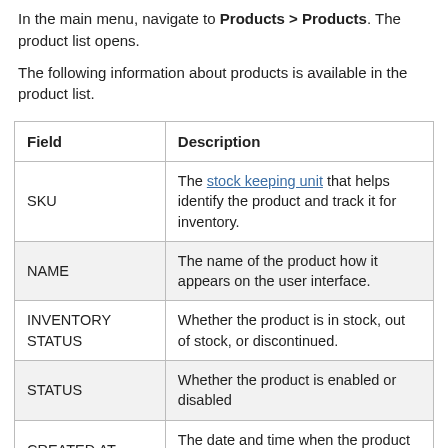In the main menu, navigate to Products > Products. The product list opens.
The following information about products is available in the product list.
| Field | Description |
| --- | --- |
| SKU | The stock keeping unit that helps identify the product and track it for inventory. |
| NAME | The name of the product how it appears on the user interface. |
| INVENTORY STATUS | Whether the product is in stock, out of stock, or discontinued. |
| STATUS | Whether the product is enabled or disabled |
| CREATED AT | The date and time when the product was created. |